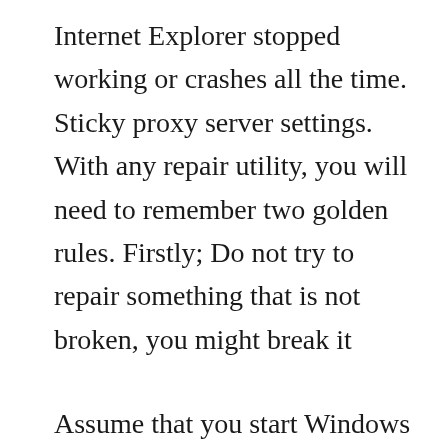Internet Explorer stopped working or crashes all the time. Sticky proxy server settings. With any repair utility, you will need to remember two golden rules. Firstly; Do not try to repair something that is not broken, you might break it
Assume that you start Windows Recovery